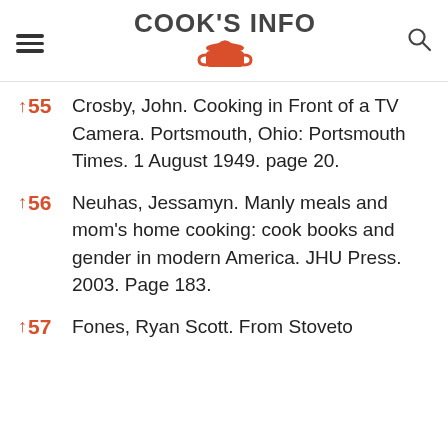COOK'S INFO
↑55 Crosby, John. Cooking in Front of a TV Camera. Portsmouth, Ohio: Portsmouth Times. 1 August 1949. page 20.
↑56 Neuhas, Jessamyn. Manly meals and mom's home cooking: cook books and gender in modern America. JHU Press. 2003. Page 183.
↑57 Fones, Ryan Scott. From Stoveto...